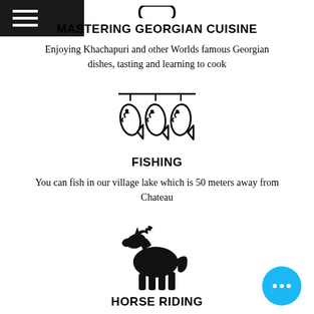MASTERING GEORGIAN CUISINE
Enjoying Khachapuri and other Worlds famous Georgian dishes, tasting and learning to cook
[Figure (illustration): Three fish hanging on a line icon]
FISHING
You can fish in our village lake which is 50 meters away from Chateau
[Figure (illustration): Black silhouette of a horse]
HORSE RIDING
We arrange horse renting for you to enjoy the landscape while riding